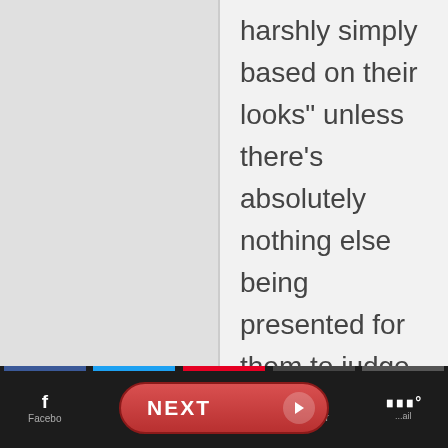harshly simply based on their looks" unless there's absolutely nothing else being presented for them to judge. Think about what you're saying.
Reply
Ben says
[Figure (screenshot): Bottom navigation toolbar with Facebook, Twitter, Pinterest, Tumblr, and Whatsapp share buttons, and a red NEXT button with arrow in the center]